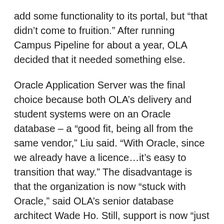add some functionality to its portal, but “that didn’t come to fruition.” After running Campus Pipeline for about a year, OLA decided that it needed something else.
Oracle Application Server was the final choice because both OLA’s delivery and student systems were on an Oracle database – a “good fit, being all from the same vendor,” Liu said. “With Oracle, since we already have a licence…it’s easy to transition that way.” The disadvantage is that the organization is now “stuck with Oracle,” said OLA’s senior database architect Wade Ho. Still, support is now “just one phone call away,” and OLA has “a bit more time to troubleshoot and solve issues,” he said.
IBM has its own integration platform under the umbrella of Websphere. Ken Ontko, director of